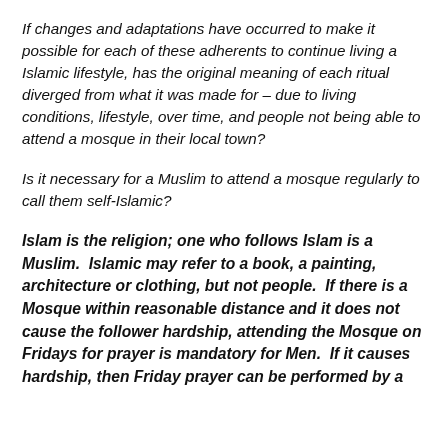If changes and adaptations have occurred to make it possible for each of these adherents to continue living a Islamic lifestyle, has the original meaning of each ritual diverged from what it was made for – due to living conditions, lifestyle, over time, and people not being able to attend a mosque in their local town?
Is it necessary for a Muslim to attend a mosque regularly to call them self-Islamic?
Islam is the religion; one who follows Islam is a Muslim.  Islamic may refer to a book, a painting, architecture or clothing, but not people.  If there is a Mosque within reasonable distance and it does not cause the follower hardship, attending the Mosque on Fridays for prayer is mandatory for Men.  If it causes hardship, then Friday prayer can be performed by a